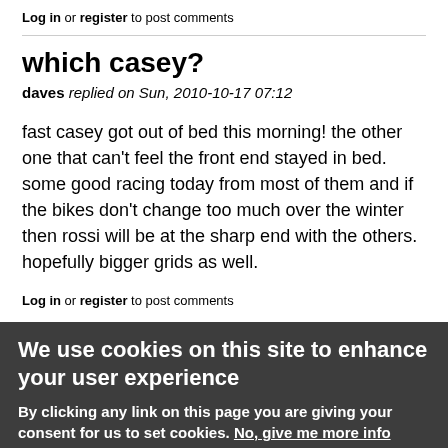Log in or register to post comments
which casey?
daves replied on Sun, 2010-10-17 07:12
fast casey got out of bed this morning! the other one that can't feel the front end stayed in bed. some good racing today from most of them and if the bikes don't change too much over the winter then rossi will be at the sharp end with the others. hopefully bigger grids as well.
Log in or register to post comments
We use cookies on this site to enhance your user experience
By clicking any link on this page you are giving your consent for us to set cookies. No, give me more info
OK, I agree